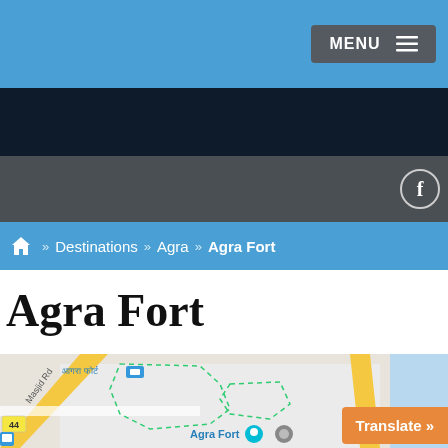MENU ≡
🏠 » Destinations » Agra » Agra Fort
Agra Fort
[Figure (map): Google Maps view of Agra Fort area showing roads, the fort boundary in dashed green lines, Masjid Rd label, route 44 marker, and the Yamuna river on the right. Hindi text आगरा फोर्ट and Agra Fort label with map pin visible.]
Translate »